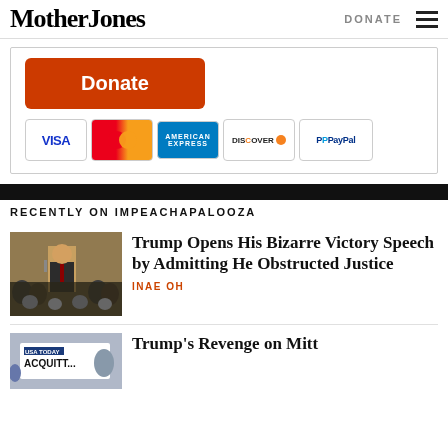Mother Jones | DONATE
[Figure (other): Donate button with payment method icons: VISA, MasterCard, American Express, Discover, PayPal]
RECENTLY ON IMPEACHAPALOOZA
[Figure (photo): Photo of Trump giving a speech at a podium in front of a crowd]
Trump Opens His Bizarre Victory Speech by Admitting He Obstructed Justice
INAE OH
[Figure (photo): Partial photo showing ACQUITT... sign, related to Trump's Revenge on Mitt article]
Trump's Revenge on Mitt